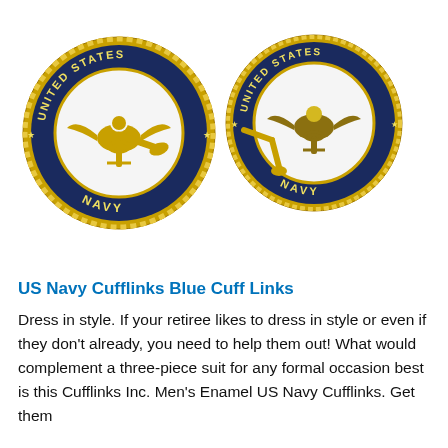[Figure (photo): Two United States Navy cufflinks with gold rims, dark navy blue enamel ring reading 'UNITED STATES NAVY' with stars, and white center featuring the US Navy eagle emblem in gold. Both cufflinks shown side by side on a white background.]
US Navy Cufflinks Blue Cuff Links
Dress in style. If your retiree likes to dress in style or even if they don't already, you need to help them out! What would complement a three-piece suit for any formal occasion best is this Cufflinks Inc. Men's Enamel US Navy Cufflinks. Get them